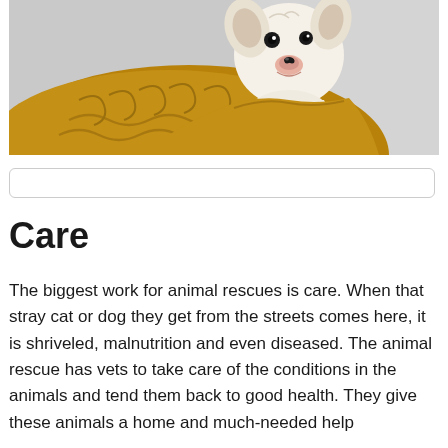[Figure (photo): A small Chihuahua dog peeking over a golden/mustard colored knit sweater or blanket against a light gray background]
Care
The biggest work for animal rescues is care. When that stray cat or dog they get from the streets comes here, it is shriveled, malnutrition and even diseased. The animal rescue has vets to take care of the conditions in the animals and tend them back to good health. They give these animals a home and much-needed help